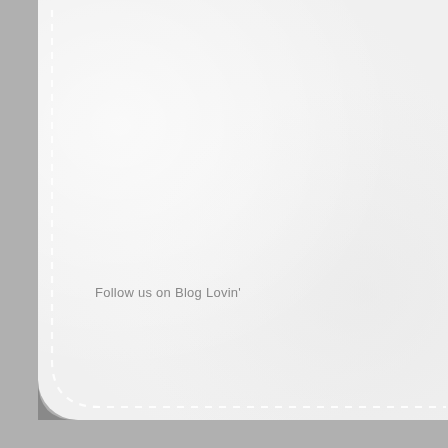[Figure (illustration): White leather-textured card with dashed white stitching along the left edge and bottom edge, with a rounded bottom-left corner, set against a gray background. The card occupies most of the page.]
Follow us on Blog Lovin'